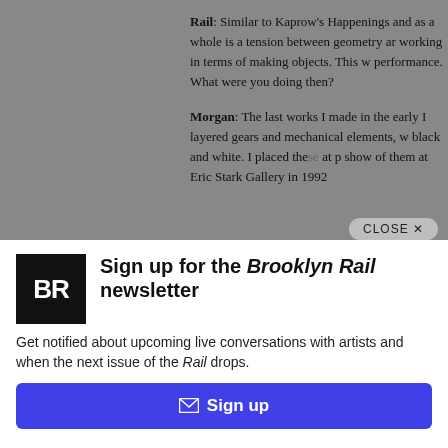Rail: Similar to Kaprow's Happenings and as a whole is a tension between geometry ar working in terms of making objects. This w performance. What were you doing then?
Morgan: The last works I made in the early I layered gears and mechanical elements, w black and white. I placed these at p show of them at Eric Stark Gallery in 1992
[Figure (logo): Brooklyn Rail BR logo — black square with white BR letters]
Sign up for the Brooklyn Rail newsletter
Get notified about upcoming live conversations with artists and when the next issue of the Rail drops.
✉ Sign up